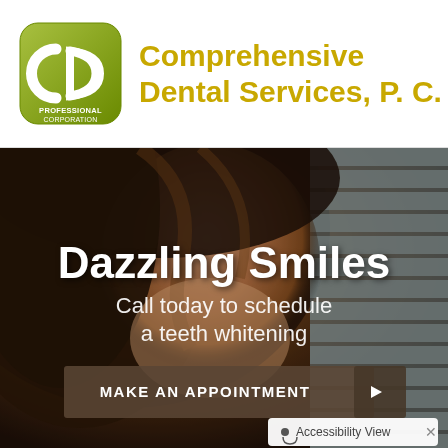[Figure (logo): CDS Professional Corporation logo — green rounded square badge with stylized arrow/bracket shapes and text 'PROFESSIONAL CORPORATION' below]
Comprehensive Dental Services, P. C.
[Figure (photo): Hero banner photo of a smiling woman with dark wavy hair, partially cropped, against a blurred background with horizontal slat-style blinds. Overlaid white text reads 'Dazzling Smiles' and 'Call today to schedule a teeth whitening'. A button reads 'MAKE AN APPOINTMENT' with an arrow.]
Dazzling Smiles
Call today to schedule a teeth whitening
MAKE AN APPOINTMENT
Accessibility View